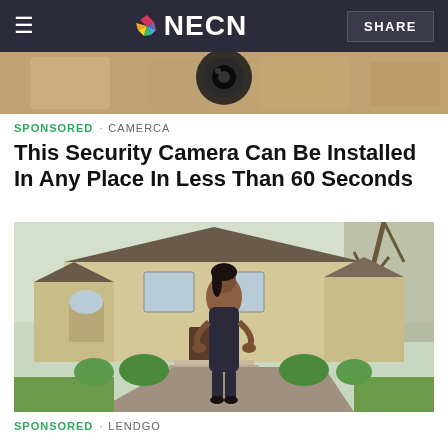NECN
[Figure (photo): Close-up photo of a security camera mounted on a surface]
SPONSORED · CAMERCA
This Security Camera Can Be Installed In Any Place In Less Than 60 Seconds
[Figure (photo): Woman in a dark dress standing in front of a large suburban house with green landscaping]
SPONSORED · LENDGO